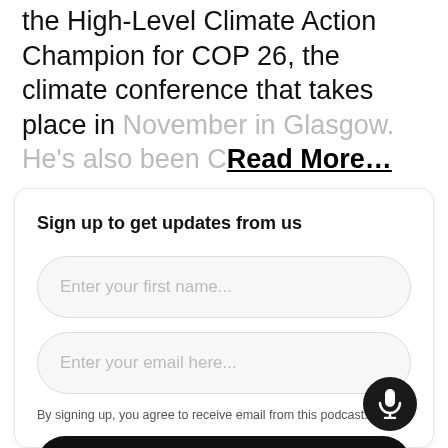the High-Level Climate Action Champion for COP 26, the climate conference that takes place in November in Glasgow. He's also been C… Read More…
Sign up to get updates from us
Enter your first name...
Enter your email here...
By signing up, you agree to receive email from this podcast.
Subscribe